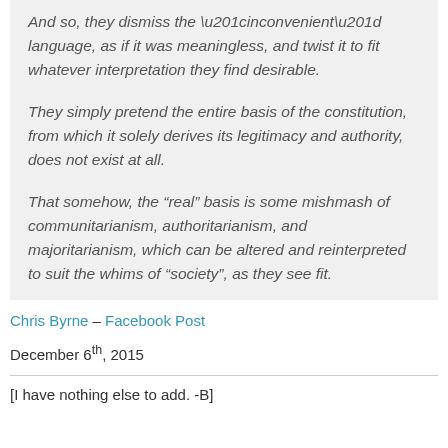And so, they dismiss the “inconvenient” language, as if it was meaningless, and twist it to fit whatever interpretation they find desirable.

They simply pretend the entire basis of the constitution, from which it solely derives its legitimacy and authority, does not exist at all.

That somehow, the “real” basis is some mishmash of communitarianism, authoritarianism, and majoritarianism, which can be altered and reinterpreted to suit the whims of “society”, as they see fit.
Chris Byrne – Facebook Post
December 6th, 2015
[I have nothing else to add. -B]